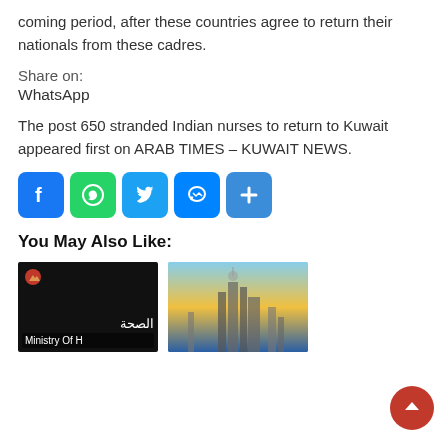coming period, after these countries agree to return their nationals from these cadres.
Share on:
WhatsApp
The post 650 stranded Indian nurses to return to Kuwait appeared first on ARAB TIMES – KUWAIT NEWS.
[Figure (infographic): Social media share icons: Facebook (blue), WhatsApp (green), Twitter (blue), Messenger (blue), Share/More (blue)]
You May Also Like:
[Figure (photo): Thumbnail of Ministry of Health (Kuwait) - black background with Arabic text and English subtitle 'Ministry Of H']
[Figure (photo): Thumbnail of Kuwait city skyline at sunset]